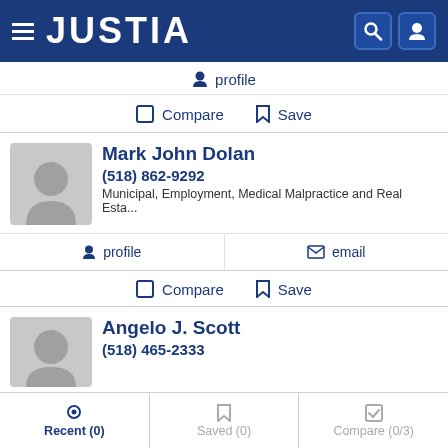JUSTIA
profile
Compare   Save
Mark John Dolan
(518) 862-9292
Municipal, Employment, Medical Malpractice and Real Esta...
profile   email
Compare   Save
Angelo J. Scott
(518) 465-2333
Recent (0)   Saved (0)   Compare (0/3)